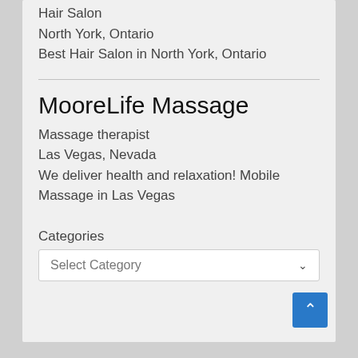Hair Salon
North York, Ontario
Best Hair Salon in North York, Ontario
MooreLife Massage
Massage therapist
Las Vegas, Nevada
We deliver health and relaxation! Mobile Massage in Las Vegas
Categories
Select Category